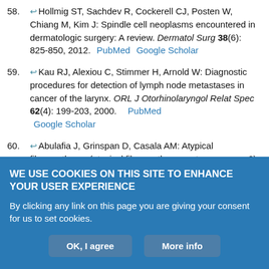58. Hollmig ST, Sachdev R, Cockerell CJ, Posten W, Chiang M, Kim J: Spindle cell neoplasms encountered in dermatologic surgery: A review. Dermatol Surg 38(6): 825-850, 2012.  PubMed  Google Scholar
59. Kau RJ, Alexiou C, Stimmer H, Arnold W: Diagnostic procedures for detection of lymph node metastases in cancer of the larynx. ORL J Otorhinolaryngol Relat Spec 62(4): 199-203, 2000.  PubMed  Google Scholar
60. Abulafia J, Grinspan D, Casala AM: Atypical fibroxanthoma (atypical fibroxanthoma or true sarcoma?). Arch Argent Dermatol 18(1): 71-89, 1968.  PubMed  Google Scholar
61. Abulafia J, Passaron H, Lacentre E, Mejja M, Grinspan D: Fibroxantoma
WE USE COOKIES ON THIS SITE TO ENHANCE YOUR USER EXPERIENCE
By clicking any link on this page you are giving your consent for us to set cookies.